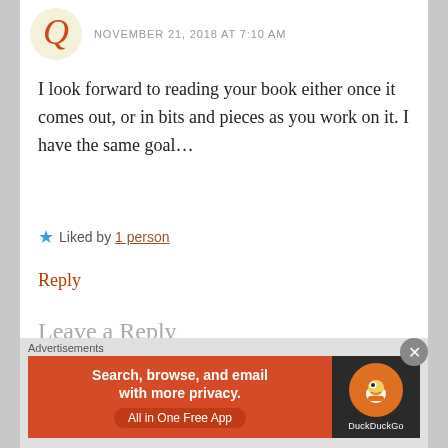NOVEMBER 21, 2018 AT 7:10 AM
I look forward to reading your book either once it comes out, or in bits and pieces as you work on it. I have the same goal…
★ Liked by 1person
Reply
Leave a Reply
Your email address will not be published. Required fields are marked *
[Figure (other): DuckDuckGo advertisement banner: orange background with text 'Search, browse, and email with more privacy. All in One Free App' and DuckDuckGo duck logo on dark background]